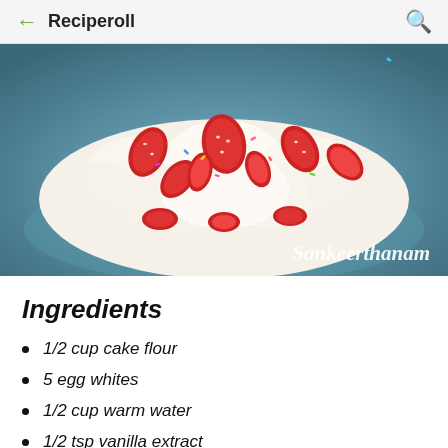Reciperoll
[Figure (photo): A white cream cake topped with sliced strawberries arranged in a fan/flower pattern, with colorful sprinkles, on a blue plate. Watermark reads 'Sankeerthanam'.]
Ingredients
1/2 cup cake flour
5 egg whites
1/2 cup warm water
1/2 tsp vanilla extract